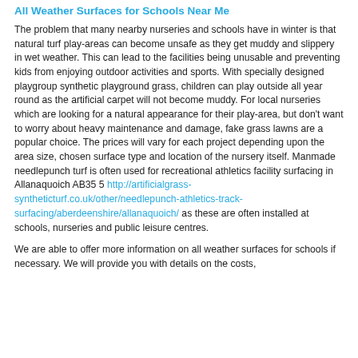All Weather Surfaces for Schools Near Me
The problem that many nearby nurseries and schools have in winter is that natural turf play-areas can become unsafe as they get muddy and slippery in wet weather. This can lead to the facilities being unusable and preventing kids from enjoying outdoor activities and sports. With specially designed playgroup synthetic playground grass, children can play outside all year round as the artificial carpet will not become muddy. For local nurseries which are looking for a natural appearance for their play-area, but don't want to worry about heavy maintenance and damage, fake grass lawns are a popular choice. The prices will vary for each project depending upon the area size, chosen surface type and location of the nursery itself. Manmade needlepunch turf is often used for recreational athletics facility surfacing in Allanaquoich AB35 5 http://artificialgrass-syntheticturf.co.uk/other/needlepunch-athletics-track-surfacing/aberdeenshire/allanaquoich/ as these are often installed at schools, nurseries and public leisure centres.
We are able to offer more information on all weather surfaces for schools if necessary. We will provide you with details on the costs,